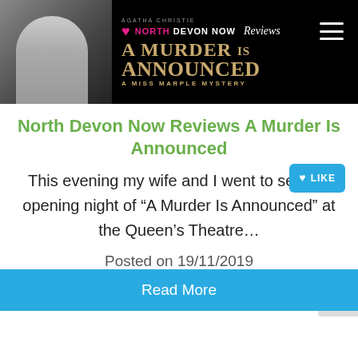[Figure (photo): Banner image showing North Devon Now Reviews branding with 'A Murder Is Announced – A Miss Marple Mystery' text overlay on dark background, with a woman's photo on the left]
North Devon Now Reviews A Murder Is Announced
This evening my wife and I went to see the opening night of “A Murder Is Announced” at the Queen’s Theatre…
Posted on 19/11/2019
Theatre
Review
Barnstaple
Read More